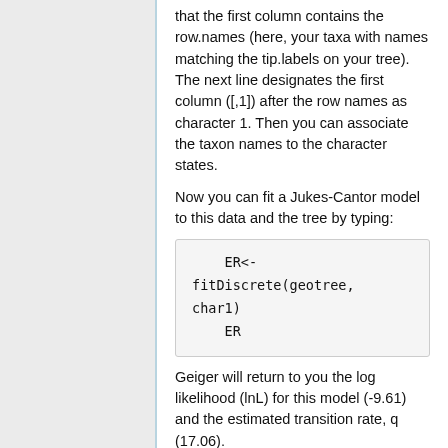that the first column contains the row.names (here, your taxa with names matching the tip.labels on your tree). The next line designates the first column ([,1]) after the row names as character 1. Then you can associate the taxon names to the character states.
Now you can fit a Jukes-Cantor model to this data and the tree by typing:
Geiger will return to you the log likelihood (lnL) for this model (-9.61) and the estimated transition rate, q (17.06).
Estimating a model with asymmetrical